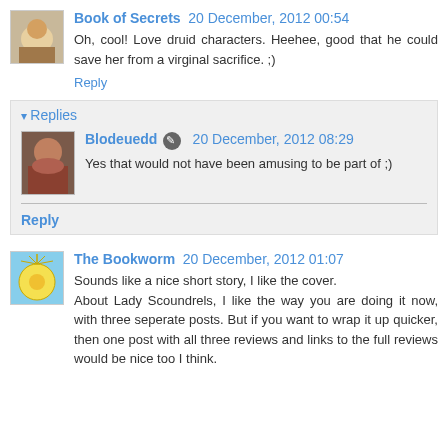Book of Secrets  20 December, 2012 00:54
Oh, cool! Love druid characters. Heehee, good that he could save her from a virginal sacrifice. ;)
Reply
Replies
Blodeuedd  20 December, 2012 08:29
Yes that would not have been amusing to be part of ;)
Reply
The Bookworm  20 December, 2012 01:07
Sounds like a nice short story, I like the cover.
About Lady Scoundrels, I like the way you are doing it now, with three seperate posts. But if you want to wrap it up quicker, then one post with all three reviews and links to the full reviews would be nice too I think.